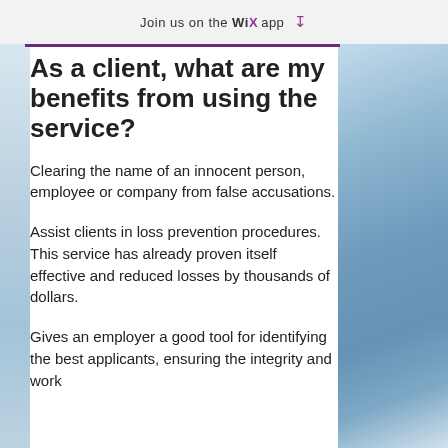Join us on the WiX app
As a client, what are my benefits from using the service?
Clearing the name of an innocent person, employee or company from false accusations.
Assist clients in loss prevention procedures.  This service has already proven itself effective and reduced losses by thousands of dollars.
Gives an employer a good tool for identifying the best applicants, ensuring the integrity and work